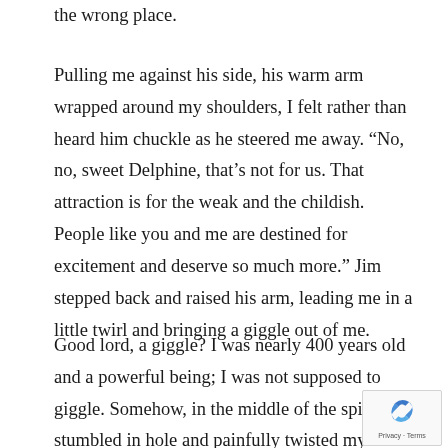the wrong place.
Pulling me against his side, his warm arm wrapped around my shoulders, I felt rather than heard him chuckle as he steered me away. “No, no, sweet Delphine, that’s not for us. That attraction is for the weak and the childish. People like you and me are destined for excitement and deserve so much more.” Jim stepped back and raised his arm, leading me in a little twirl and bringing a giggle out of me.
Good lord, a giggle? I was nearly 400 years old and a powerful being; I was not supposed to giggle. Somehow, in the middle of the spin, I stumbled in hole and painfully twisted my ankle. “Ow!”